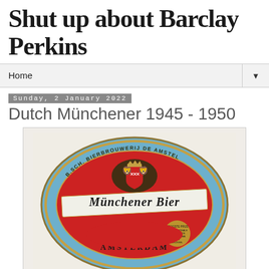Shut up about Barclay Perkins
Home
Sunday, 2 January 2022
Dutch Münchener 1945 - 1950
[Figure (photo): Vintage oval beer label for Münchener Bier from B.Sch. Bierbrouwerij De Amstel, Amsterdam. Red and blue oval label with gold heraldic coat of arms, decorative banner reading 'Münchener Bier' in gothic script, Amsterdam city arms with lions.]